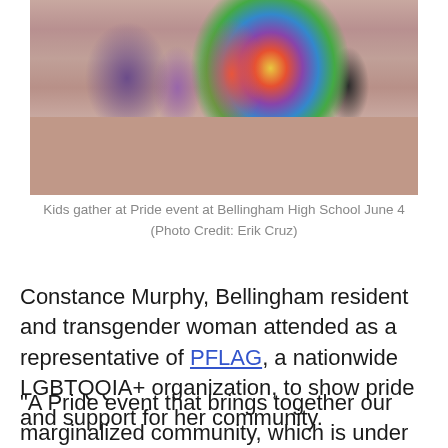[Figure (photo): Kids gather at a Pride event at Bellingham High School, people walking with rainbow flags on a brick courtyard, others sitting on the ground]
Kids gather at Pride event at Bellingham High School June 4
(Photo Credit: Erik Cruz)
Constance Murphy, Bellingham resident and transgender woman attended as a representative of PFLAG, a nationwide LGBTQQIA+ organization, to show pride and support for her community.
“A Pride event that brings together our marginalized community, which is under attack around the country, is super important. This small community —